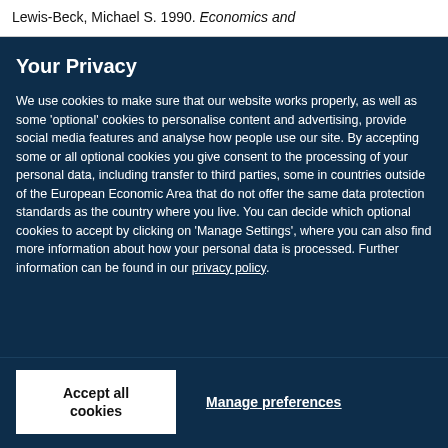Lewis-Beck, Michael S. 1990. Economics and
Your Privacy
We use cookies to make sure that our website works properly, as well as some ‘optional’ cookies to personalise content and advertising, provide social media features and analyse how people use our site. By accepting some or all optional cookies you give consent to the processing of your personal data, including transfer to third parties, some in countries outside of the European Economic Area that do not offer the same data protection standards as the country where you live. You can decide which optional cookies to accept by clicking on ‘Manage Settings’, where you can also find more information about how your personal data is processed. Further information can be found in our privacy policy.
Accept all cookies
Manage preferences